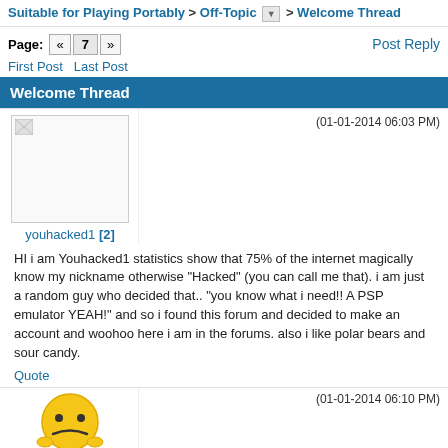Suitable for Playing Portably > Off-Topic > Welcome Thread
Page: « 7 »
Post Reply
First Post  Last Post
Welcome Thread
(01-01-2014 06:03 PM)
youhacked1 [2]
HI i am Youhacked1 statistics show that 75% of the internet magically know my nickname otherwise "Hacked" (you can call me that). i am just a random guy who decided that.. "you know what i need!! A PSP emulator YEAH!" and so i found this forum and decided to make an account and woohoo here i am in the forums. also i like polar bears and sour candy.
Quote
(01-01-2014 06:10 PM)
globe94 [69]